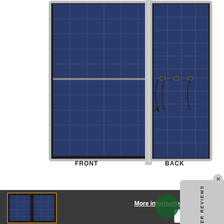[Figure (photo): Solar panel shown from front and back views. Front view shows blue photovoltaic cells with grid lines. Back view shows the rear of the panel with junction boxes and wiring connectors visible, with curved arrows indicating the back side. Labels 'FRONT' and 'BACK' appear below each view.]
FRONT
BACK
[Figure (screenshot): Customer Reviews sidebar tab on the right side showing 'CUSTOMER REVIEWS' text rotated vertically with 4 gold stars below it, and a close (X) button at top.]
[Figure (photo): Thumbnail of the same solar panel front and back images in the bottom dark section.]
More information.
OK